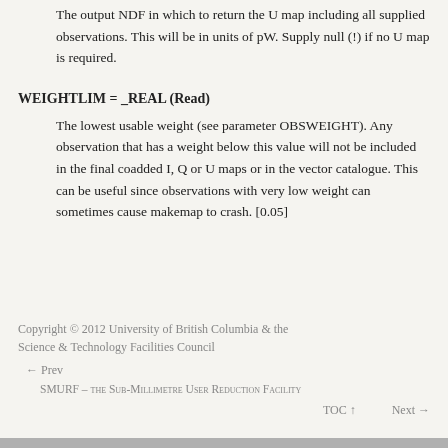The output NDF in which to return the U map including all supplied observations. This will be in units of pW. Supply null (!) if no U map is required.
WEIGHTLIM = _REAL (Read)
The lowest usable weight (see parameter OBSWEIGHT). Any observation that has a weight below this value will not be included in the final coadded I, Q or U maps or in the vector catalogue. This can be useful since observations with very low weight can sometimes cause makemap to crash. [0.05]
Copyright © 2012 University of British Columbia & the Science & Technology Facilities Council
← Prev
SMURF – the Sub-Millimetre User Reduction Facility
TOC ↑   Next →